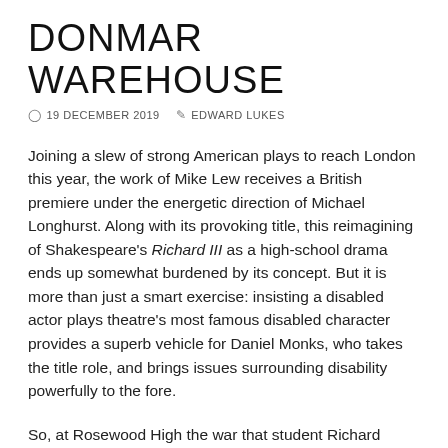DONMAR WAREHOUSE
19 DECEMBER 2019   EDWARD LUKES
Joining a slew of strong American plays to reach London this year, the work of Mike Lew receives a British premiere under the energetic direction of Michael Longhurst. Along with its provoking title, this reimagining of Shakespeare's Richard III as a high-school drama ends up somewhat burdened by its concept. But it is more than just a smart exercise: insisting a disabled actor plays theatre's most famous disabled character provides a superb vehicle for Daniel Monks, who takes the title role, and brings issues surrounding disability powerfully to the fore.
So, at Rosewood High the war that student Richard Gloucester starts is one for class presidency. He's unwittingly aided by his friend 'Buck' and his teacher Mrs York (great performances from Ruth Madeley and Susan Wokoma) while his rivals are